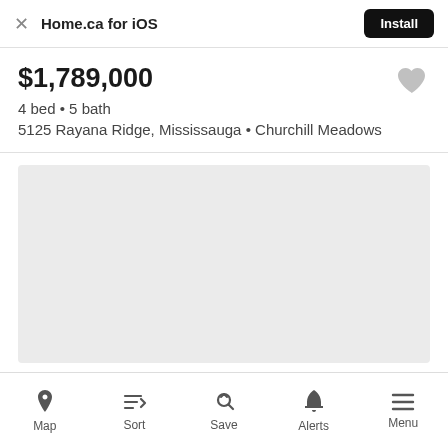Home.ca for iOS  Install
$1,789,000
4 bed • 5 bath
5125 Rayana Ridge, Mississauga • Churchill Meadows
[Figure (map): Grey placeholder map area]
Map  Sort  Save  Alerts  Menu